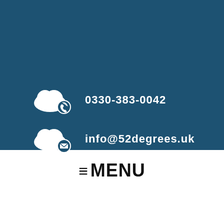[Figure (illustration): White cloud icon with phone/call symbol badge, white cloud icon with envelope/email badge, on dark blue background]
0330-383-0042
info@52degrees.uk
≡MENU